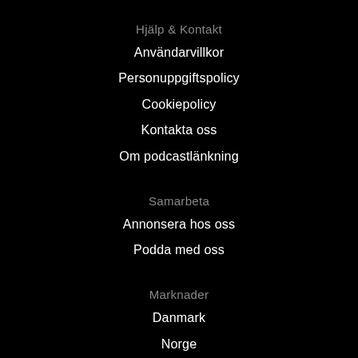Hjälp & Kontakt
Användarvillkor
Personuppgiftspolicy
Cookiepolicy
Kontakta oss
Om podcastlänkning
Samarbeta
Annonsera hos oss
Podda med oss
Marknader
Danmark
Norge